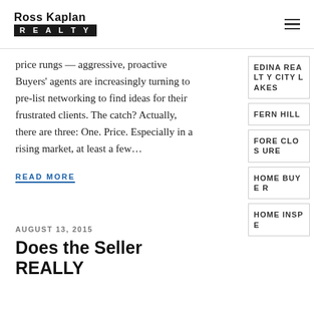[Figure (logo): Ross Kaplan Realty logo with name above and REALTY in white text on black background below]
price rungs — aggressive, proactive Buyers' agents are increasingly turning to pre-list networking to find ideas for their frustrated clients. The catch? Actually, there are three: One. Price. Especially in a rising market, at least a few...
READ MORE
AUGUST 13, 2015
Does the Seller REALLY
EDINA REALTY CITY LAKES
FERN HILL
FORE CLOS URE
HOME BUYER
HOME INSPE